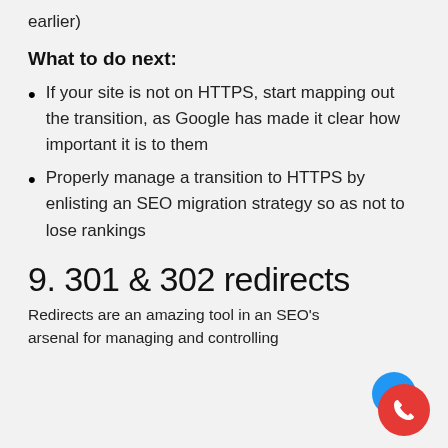earlier)
What to do next:
If your site is not on HTTPS, start mapping out the transition, as Google has made it clear how important it is to them
Properly manage a transition to HTTPS by enlisting an SEO migration strategy so as not to lose rankings
9. 301 & 302 redirects
Redirects are an amazing tool in an SEO's arsenal for managing and controlling